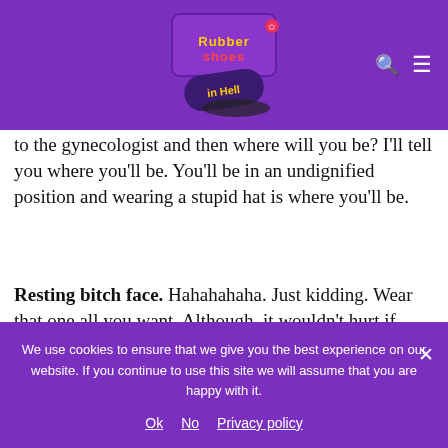Rubber Shoes in Hell - blog logo with navigation icons
to the gynecologist and then where will you be? I'll tell you where you'll be. You'll be in an undignified position and wearing a stupid hat is where you'll be.
Resting bitch face. Hahahahaha. Just kidding. Wear that one all you want. Although, it wouldn't hurt if every once in a while, you had a welcoming and kind look on your face. At
We use cookies to ensure that we give you the best experience on our website. If you continue to use this site we will assume that you are happy with it.
Ok   No   Privacy policy